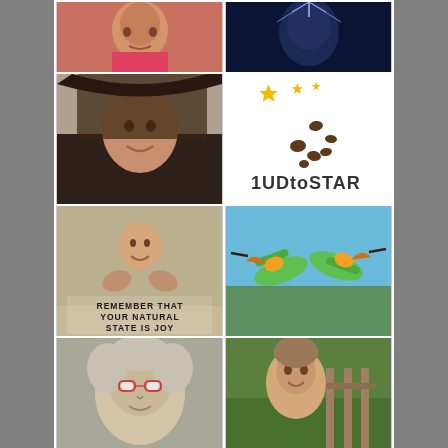[Figure (photo): Child in red shirt, face visible, smiling]
[Figure (photo): Dark digital illustration of a face with light rays]
[Figure (photo): Young woman with long dark hair, smiling selfie]
[Figure (illustration): MUDtoSTAR logo: gold stars fading to brown dots/mud spots, text reading '1UDtoSTAR' at bottom]
[Figure (photo): Vintage sepia photo of laughing baby being held up, text overlay: REMEMBER THAT YOUR NATURAL STATE IS JOY - WAYNE DYER]
[Figure (photo): Two colorful bee-eater birds facing each other in flight, vibrant green and orange plumage]
[Figure (photo): Older woman with curly grey hair and red-rimmed glasses, close-up selfie]
[Figure (photo): Middle-aged woman outdoors on a deck with trees in background]